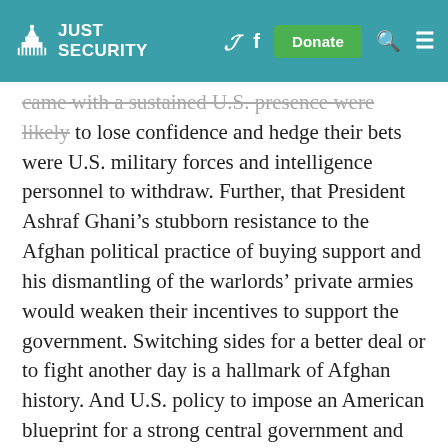Just Security
came with a sustained U.S. presence were likely to lose confidence and hedge their bets were U.S. military forces and intelligence personnel to withdraw. Further, that President Ashraf Ghani’s stubborn resistance to the Afghan political practice of buying support and his dismantling of the warlords’ private armies would weaken their incentives to support the government. Switching sides for a better deal or to fight another day is a hallmark of Afghan history. And U.S. policy to impose an American blueprint for a strong central government and integrated national army served only to enable Ghani’s disastrous and uncompromising